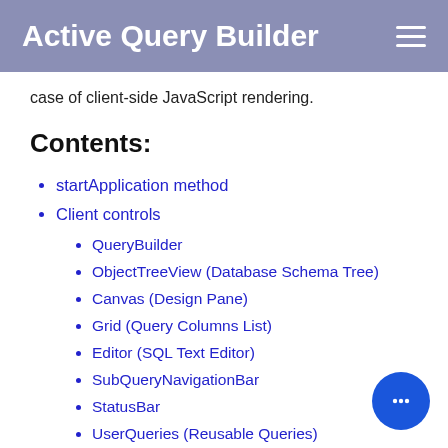Active Query Builder
case of client-side JavaScript rendering.
Contents:
startApplication method
Client controls
QueryBuilder
ObjectTreeView (Database Schema Tree)
Canvas (Design Pane)
Grid (Query Columns List)
Editor (SQL Text Editor)
SubQueryNavigationBar
StatusBar
UserQueries (Reusable Queries)
CriteriaBuilder